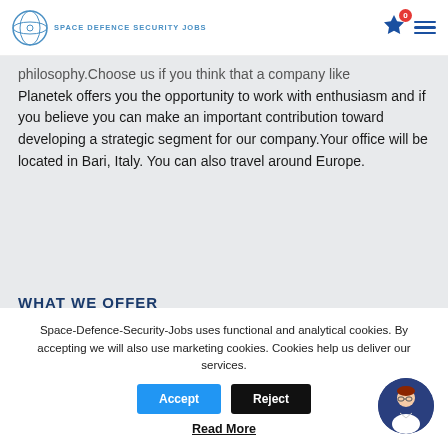SPACE DEFENCE SECURITY JOBS
philosophy.Choose us if you think that a company like Planetek offers you the opportunity to work with enthusiasm and if you believe you can make an important contribution toward developing a strategic segment for our company.Your office will be located in Bari, Italy. You can also travel around Europe.
WHAT WE OFFER
Space-Defence-Security-Jobs uses functional and analytical cookies. By accepting we will also use marketing cookies. Cookies help us deliver our services.
Accept
Reject
Read More